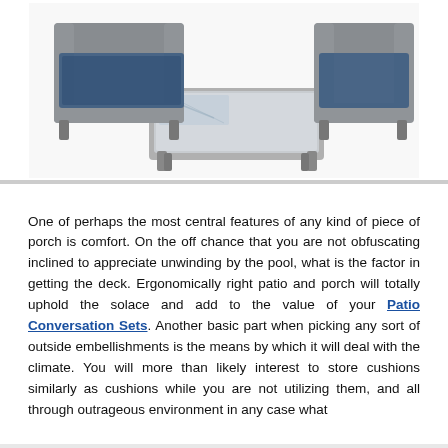[Figure (photo): Outdoor patio furniture set showing grey wicker/rattan sofa chairs and a rectangular coffee table with glass top, on a white background.]
One of perhaps the most central features of any kind of piece of porch is comfort. On the off chance that you are not obfuscating inclined to appreciate unwinding by the pool, what is the factor in getting the deck. Ergonomically right patio and porch will totally uphold the solace and add to the value of your Patio Conversation Sets. Another basic part when picking any sort of outside embellishments is the means by which it will deal with the climate. You will more than likely interest to store cushions similarly as cushions while you are not utilizing them, and all through outrageous environment in any case what